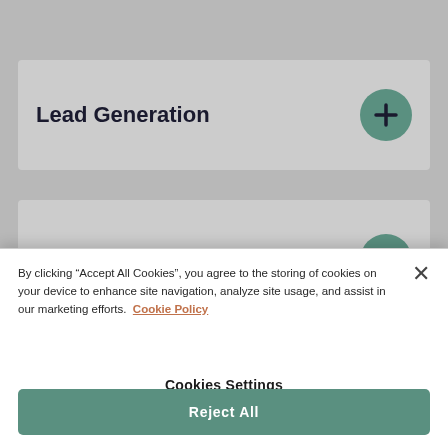Lead Generation
Sales Campaign Management
By clicking “Accept All Cookies”, you agree to the storing of cookies on your device to enhance site navigation, analyze site usage, and assist in our marketing efforts.  Cookie Policy
Cookies Settings
Reject All